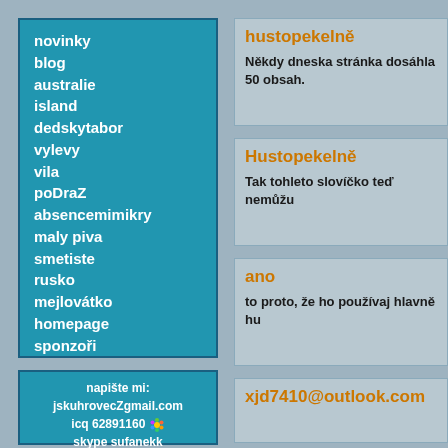novinky
blog
australie
island
dedskytabor
vylevy
vila
poDraZ
absencemimikry
maly piva
smetiste
rusko
mejlovátko
homepage
sponzoři
napište mi:
jskuhrovecZgmail.com
icq 62891160
skype sufanekk
počitadlo: 412424
přidej prasátka
hustopekelně
Někdy dneska stránka dosáhla 50 obsah.
Hustopekelně
Tak tohleto slovíčko teď nemůžu
ano
to proto, že ho používaj hlavně hu
xjd7410@outlook.com